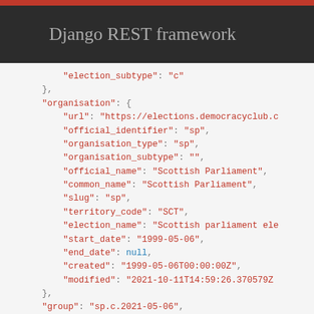Django REST framework
JSON API response showing election and organisation data fields including election_subtype, organisation object with url, official_identifier, organisation_type, organisation_subtype, official_name, common_name, slug, territory_code, election_name, start_date, end_date, created, modified fields, followed by group, group_type, identifier_type, children, elected_role, seats_contested fields.